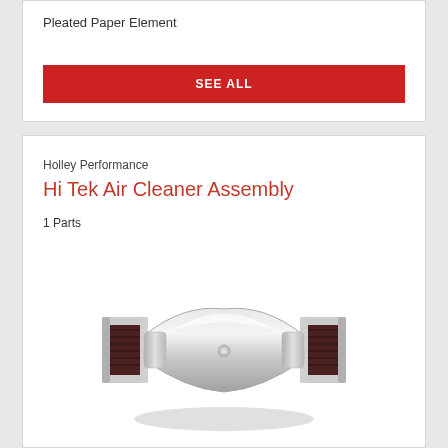Pleated Paper Element
SEE ALL
Holley Performance
Hi Tek Air Cleaner Assembly
1 Parts
[Figure (photo): Chrome Hi Tek Air Cleaner Assembly with dark red/maroon conical filters on each side, photographed on white background]